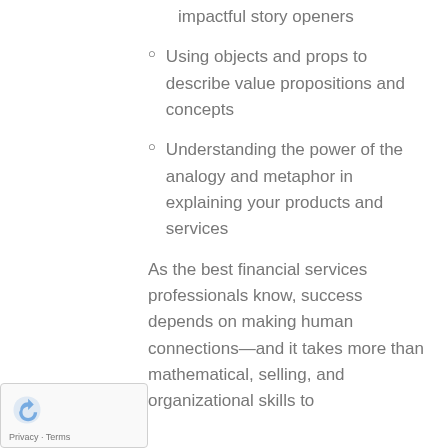impactful story openers
Using objects and props to describe value propositions and concepts
Understanding the power of the analogy and metaphor in explaining your products and services
As the best financial services professionals know, success depends on making human connections—and it takes more than mathematical, selling, and organizational skills to